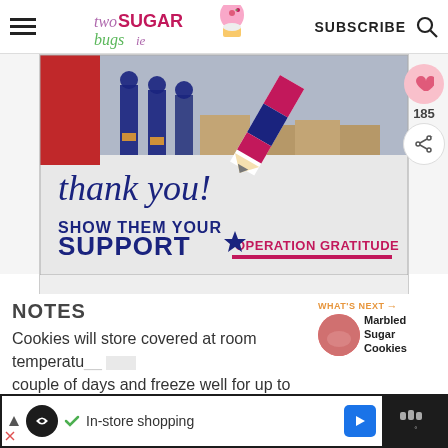twoSUGARbugs - SUBSCRIBE
[Figure (photo): Operation Gratitude thank you banner with pencil graphic, text 'thank you! SHOW THEM YOUR SUPPORT OPERATION GRATITUDE', and firefighters/military personnel in background]
NOTES
Cookies will store covered at room temperature for a couple of days and freeze well for up to three months.
[Figure (photo): What's Next: Marbled Sugar Cookies thumbnail]
In-store shopping ad bar